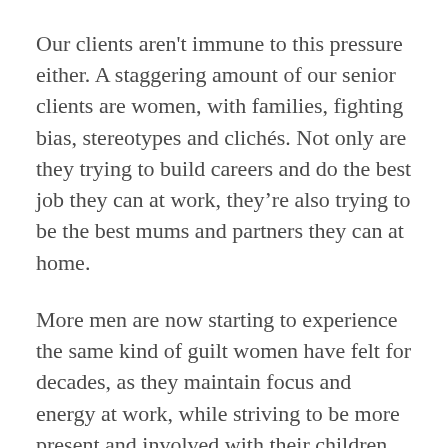Our clients aren't immune to this pressure either. A staggering amount of our senior clients are women, with families, fighting bias, stereotypes and clichés. Not only are they trying to build careers and do the best job they can at work, they're also trying to be the best mums and partners they can at home.
More men are now starting to experience the same kind of guilt women have felt for decades, as they maintain focus and energy at work, while striving to be more present and involved with their children and helping to ensure that the house doesn't look like a small nuclear device has gone off inside it.
In case it isn't obvious, we're all in this together